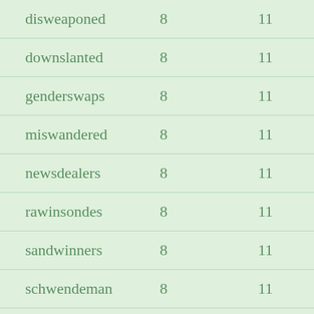| disweaponed | 8 | 11 |
| downslanted | 8 | 11 |
| genderswaps | 8 | 11 |
| miswandered | 8 | 11 |
| newsdealers | 8 | 11 |
| rawinsondes | 8 | 11 |
| sandwinners | 8 | 11 |
| schwendeman | 8 | 11 |
| strawmanned | 8 | 11 |